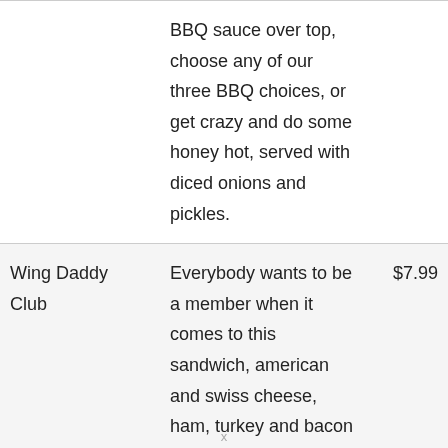|  | Description | Price |
| --- | --- | --- |
|  | BBQ sauce over top, choose any of our three BBQ choices, or get crazy and do some honey hot, served with diced onions and pickles. |  |
| Wing Daddy Club | Everybody wants to be a member when it comes to this sandwich, american and swiss cheese, ham, turkey and bacon served with mayo and italian vinaigrette on the side | $7.99 |
x